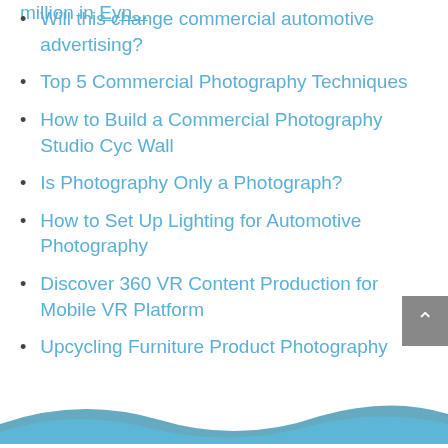Will this change commercial automotive advertising?
Top 5 Commercial Photography Techniques
How to Build a Commercial Photography Studio Cyc Wall
Is Photography Only a Photograph?
How to Set Up Lighting for Automotive Photography
Discover 360 VR Content Production for Mobile VR Platform
Upcycling Furniture Product Photography